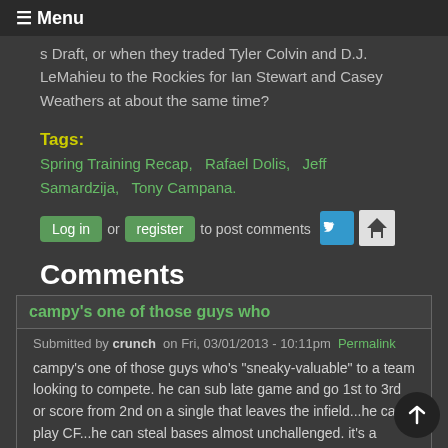☰ Menu
s Draft, or when they traded Tyler Colvin and D.J. LeMahieu to the Rockies for Ian Stewart and Casey Weathers at about the same time?
Tags:
Spring Training Recap, Rafael Dolis, Jeff Samardzija, Tony Campana.
Log in or register to post comments
Comments
campy's one of those guys who
Submitted by crunch on Fri, 03/01/2013 - 10:11pm Permalink
campy's one of those guys who's "sneaky-valuable" to a team looking to compete. he can sub late game and go 1st to 3rd or score from 2nd on a single that leaves the infield...he can play CF...he can steal bases almost unchallenged. it's a shame he's